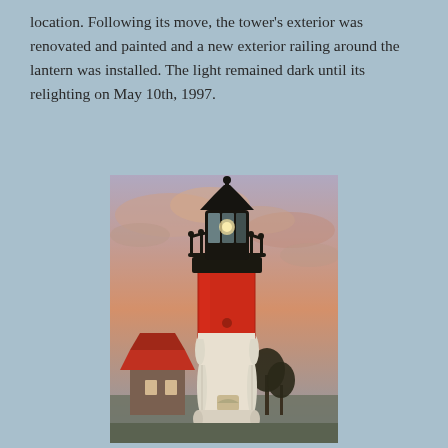location. Following its move, the tower's exterior was renovated and painted and a new exterior railing around the lantern was installed. The light remained dark until its relighting on May 10th, 1997.
[Figure (photo): A red and white striped lighthouse tower photographed against a dramatic pink and purple sunset sky with clouds. The lower portion of the tower is white, the upper portion is red. A black lantern room with ornate iron railing surrounds the top. A small building with a red roof and bare trees are visible at the base.]